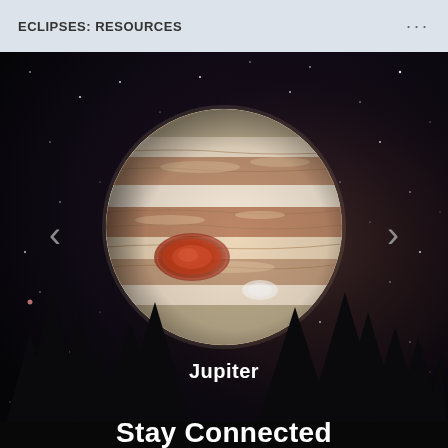ECLIPSES: RESOURCES
[Figure (illustration): Screenshot of a space/astronomy app showing Jupiter — a large detailed photographic image of the planet with its characteristic bands and Great Red Spot — centered against a dark starry night sky background with silhouetted pine trees at the bottom. Navigation arrows (< and >) appear on the left and right sides. The planet label 'Jupiter' appears in white bold text below the planet. At the very bottom, large white bold text reads 'Stay Connected'.]